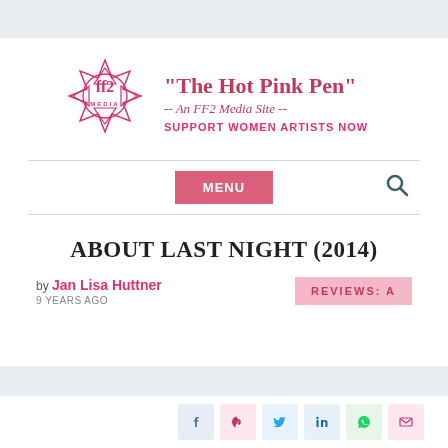FF2 Media — The Hot Pink Pen header bar
[Figure (logo): FF2 Media logo — geometric star/compass shape in pink with 'ff2 MEDIA' text inside]
“The Hot Pink Pen” -- An FF2 Media Site -- SUPPORT WOMEN ARTISTS NOW
MENU
ABOUT LAST NIGHT (2014)
by Jan Lisa Huttner
9 YEARS AGO
REVIEWS: A
Social share buttons: Facebook, Pinterest, Twitter, LinkedIn, WhatsApp, Email